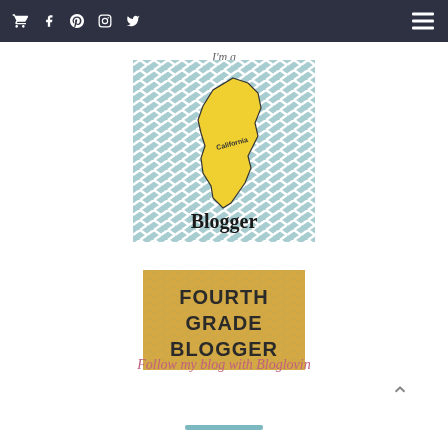Navigation bar with cart, Facebook, Pinterest, Instagram, Twitter icons and hamburger menu
I'm a
[Figure (illustration): California Blogger badge: blue and white chevron zigzag pattern background with yellow silhouette of California state shape labeled 'California' in center and 'Blogger' text at bottom in black serif font]
[Figure (illustration): Fourth Grade Blogger badge: gold/tan chevron pattern background with bold black text reading 'FOURTH GRADE BLOGGER' in three lines]
Follow my blog with Bloglovin
Back to top indicator and teal divider line